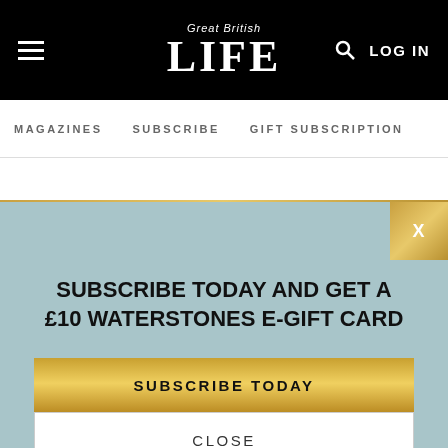Great British LIFE — MAGAZINES  SUBSCRIBE  GIFT SUBSCRIPTIONS  LOG IN
SUBSCRIBE TODAY AND GET A £10 WATERSTONES E-GIFT CARD
SUBSCRIBE TODAY
CLOSE